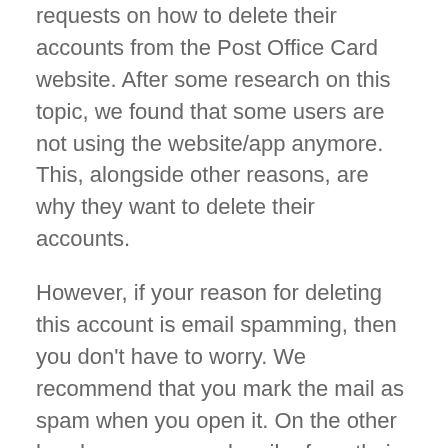requests on how to delete their accounts from the Post Office Card website. After some research on this topic, we found that some users are not using the website/app anymore. This, alongside other reasons, are why they want to delete their accounts.
However, if your reason for deleting this account is email spamming, then you don't have to worry. We recommend that you mark the mail as spam when you open it. On the other hand, you can unsubscribe from their newsletters. To unsubscribe from their newsletters, Just tap on the unsubscribe button given at the bottom of the mail you received. Nevertheless, if your reason for deleting your account is otherwise, here is a step-by-step method on how to close your account from the website.
How To Delete Post Office